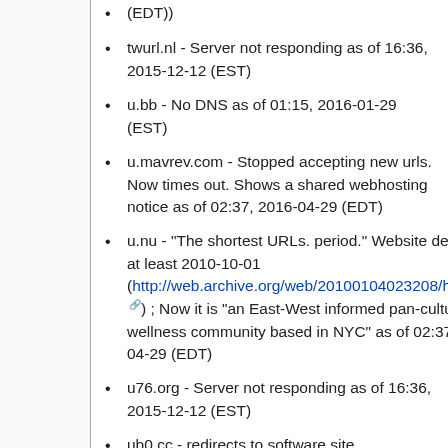(EDT))
twurl.nl - Server not responding as of 16:36, 2015-12-12 (EST)
u.bb - No DNS as of 01:15, 2016-01-29 (EST)
u.mavrev.com - Stopped accepting new urls. Now times out. Shows a shared webhosting notice as of 02:37, 2016-04-29 (EDT)
u.nu - "The shortest URLs. period." Website dead since at least 2010-10-01 (http://web.archive.org/web/20100104023208/http://u.nu/) ; Now it is "an East-West informed pan-cultural wellness community based in NYC" as of 02:37, 2016-04-29 (EDT)
u76.org - Server not responding as of 16:36, 2015-12-12 (EST)
ub0.cc - redirects to software site